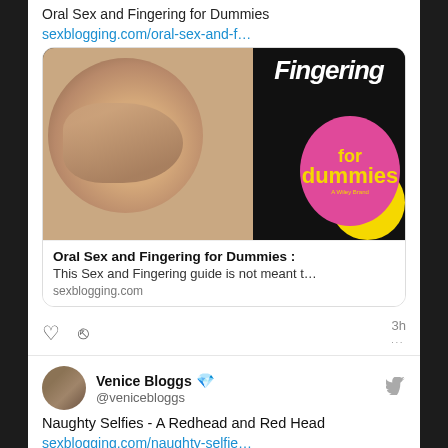Oral Sex and Fingering for Dummies
sexblogging.com/oral-sex-and-f…
[Figure (screenshot): Book cover thumbnail for 'Fingering for Dummies' showing hands on one side and the Dummies brand logo on a pink circle with yellow background on the right side]
Oral Sex and Fingering for Dummies :
This Sex and Fingering guide is not meant t…
sexblogging.com
3h
Venice Bloggs 💎
@venicebloggs
Naughty Selfies - A Redhead and Red Head
sexblogging.com/naughty-selfie…